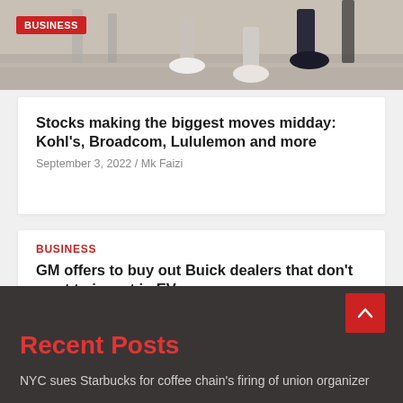[Figure (photo): Photo of a shopping mall or indoor space floor with people's legs/feet visible, with a red BUSINESS badge overlaid in the top-left corner]
Stocks making the biggest moves midday: Kohl's, Broadcom, Lululemon and more
September 3, 2022 / Mk Faizi
BUSINESS
GM offers to buy out Buick dealers that don't want to invest in EVs
September 3, 2022 / Mk Faizi
Recent Posts
NYC sues Starbucks for coffee chain's firing of union organizer